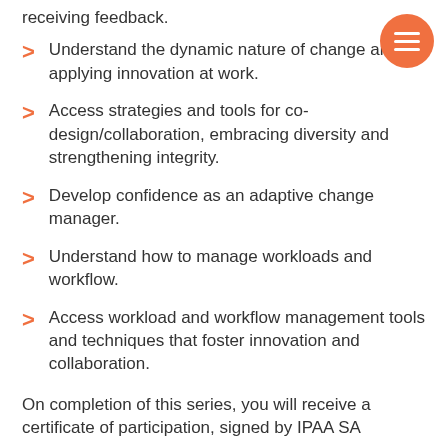receiving feedback.
Understand the dynamic nature of change and applying innovation at work.
Access strategies and tools for co-design/collaboration, embracing diversity and strengthening integrity.
Develop confidence as an adaptive change manager.
Understand how to manage workloads and workflow.
Access workload and workflow management tools and techniques that foster innovation and collaboration.
On completion of this series, you will receive a certificate of participation, signed by IPAA SA